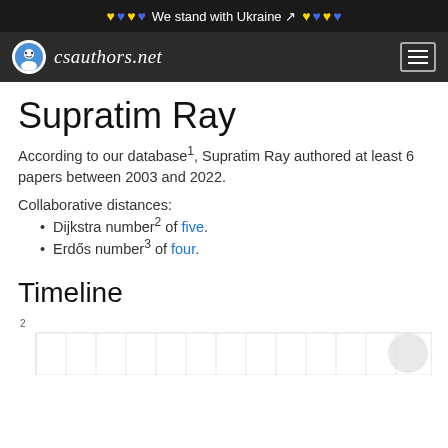♥♥♥♥ We stand with Ukraine ♥♥♥♥
csauthors.net
Supratim Ray
According to our database1, Supratim Ray authored at least 6 papers between 2003 and 2022.
Collaborative distances:
Dijkstra number2 of five.
Erdős number3 of four.
Timeline
[Figure (bar-chart): Bar chart showing publication timeline for Supratim Ray, y-axis starts at 2, partial view]